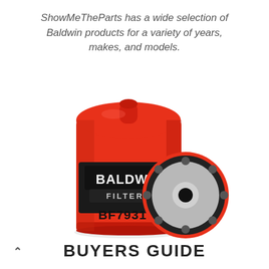ShowMeTheParts has a wide selection of Baldwin products for a variety of years, makes, and models.
[Figure (photo): Photo of a red Baldwin Filters fuel filter (model BF7931) shown from the side and from the bottom end, displaying the red cylindrical canister with BALDWIN FILTERS logo and BF7931 part number, alongside a circular bottom view showing mounting holes and center port.]
BUYERS GUIDE